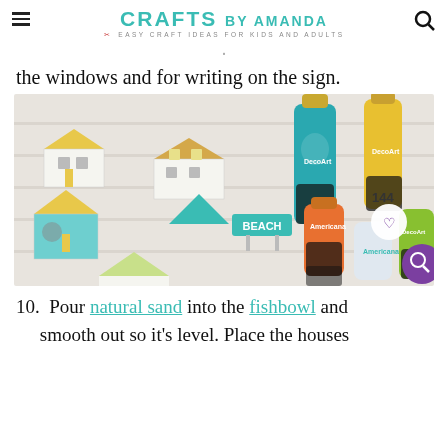CRAFTS BY AMANDA — EASY CRAFT IDEAS FOR KIDS AND ADULTS
the windows and for writing on the sign.
[Figure (photo): Flat lay photo of painted clay or wood miniature beach house figures and bottles of DecoArt Americana acrylic paint in teal, yellow, orange, white, and green colors on a white wood surface. A 'BEACH' sign is among the figures. UI overlays show a heart/like button with count 144 and a purple search button.]
10. Pour natural sand into the fishbowl and smooth out so it's level. Place the houses